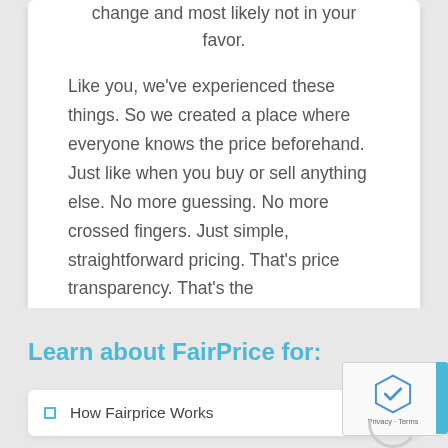change and most likely not in your favor.
Like you, we've experienced these things. So we created a place where everyone knows the price beforehand. Just like when you buy or sell anything else. No more guessing. No more crossed fingers. Just simple, straightforward pricing. That's price transparency. That's the FairPrice.Network revolution.
Learn more at FairPrice.Network
Learn about FairPrice for:
How Fairprice Works